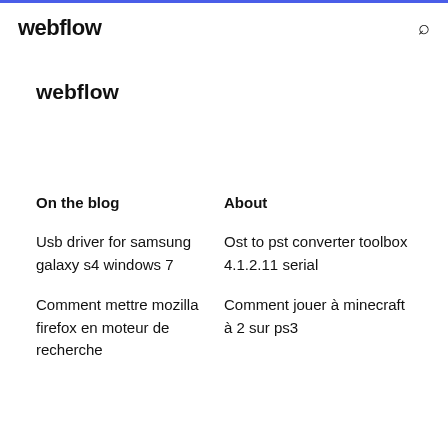webflow
webflow
On the blog
About
Usb driver for samsung galaxy s4 windows 7
Ost to pst converter toolbox 4.1.2.11 serial
Comment mettre mozilla firefox en moteur de recherche
Comment jouer à minecraft à 2 sur ps3